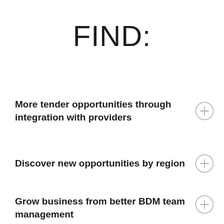FIND:
More tender opportunities through integration with providers
Discover new opportunities by region
Grow business from better BDM team management